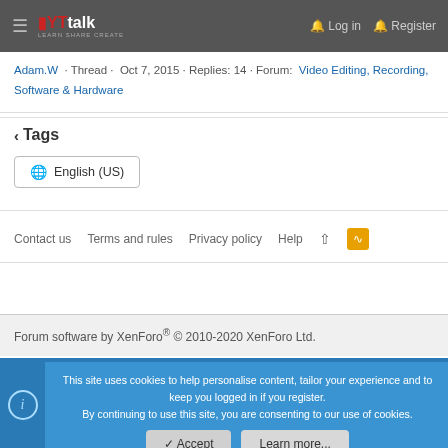YTtalk - LEARN SHARE CREATE | Log in | Register
Adam.W · Thread · Oct 7, 2015 · Replies: 14 · Forum: Video Editing, Recording, Software & Hardware
< Tags
English (US)
Contact us · Terms and rules · Privacy policy · Help
Forum software by XenForo® © 2010-2020 XenForo Ltd.
This site uses cookies to help personalise content, tailor your experience and to keep you logged in if you register. By continuing to use this site, you are consenting to our use of cookies.
Accept | Learn more...